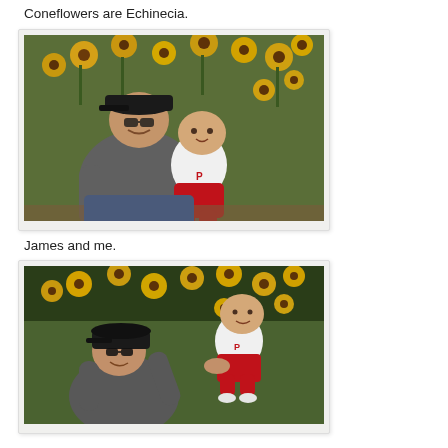Coneflowers are Echinecia.
[Figure (photo): A man wearing a dark baseball cap and grey t-shirt sitting and holding a baby dressed in a white onesie and red pants. They are surrounded by yellow coneflowers (Rudbeckia/Black-eyed Susans) and green foliage in a garden setting.]
James and me.
[Figure (photo): A man wearing a dark baseball cap and grey t-shirt lifting a baby dressed in a white onesie and red outfit up in the air. Both are smiling. Background shows yellow coneflowers and lush green garden foliage.]